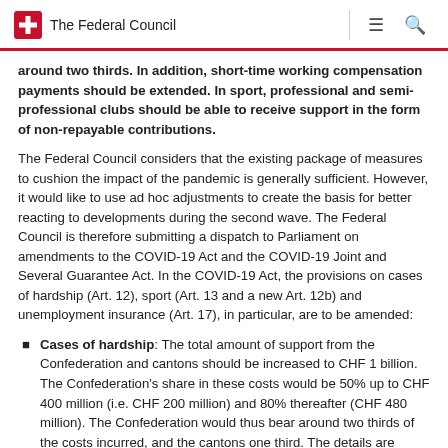The Federal Council
around two thirds. In addition, short-time working compensation payments should be extended. In sport, professional and semi-professional clubs should be able to receive support in the form of non-repayable contributions.
The Federal Council considers that the existing package of measures to cushion the impact of the pandemic is generally sufficient. However, it would like to use ad hoc adjustments to create the basis for better reacting to developments during the second wave. The Federal Council is therefore submitting a dispatch to Parliament on amendments to the COVID-19 Act and the COVID-19 Joint and Several Guarantee Act. In the COVID-19 Act, the provisions on cases of hardship (Art. 12), sport (Art. 13 and a new Art. 12b) and unemployment insurance (Art. 17), in particular, are to be amended:
Cases of hardship: The total amount of support from the Confederation and cantons should be increased to CHF 1 billion. The Confederation's share in these costs would be 50% up to CHF 400 million (i.e. CHF 200 million) and 80% thereafter (CHF 480 million). The Confederation would thus bear around two thirds of the costs incurred, and the cantons one third. The details are